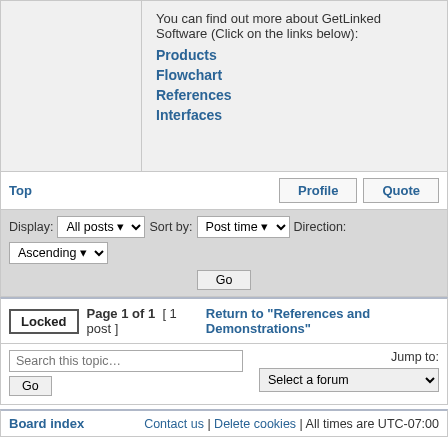You can find out more about GetLinked Software (Click on the links below): Products Flowchart References Interfaces
Top | Profile | Quote
Display: All posts  Sort by: Post time  Direction: Ascending  Go
Locked  Page 1 of 1 [ 1 post ]  Return to "References and Demonstrations"
Search this topic... Go | Jump to: Select a forum
Board index | Contact us | Delete cookies | All times are UTC-07:00
sPowered by phpBB® Forum Software © phpBB Limited
© Copyright 2020 Accounting Solutions, Inc. All rights reserved. GetLinked® is a registered trademark of DEFEDE. Other product names listed herein are trademarks or registered trademarks of their respective companies.
Privacy | Terms